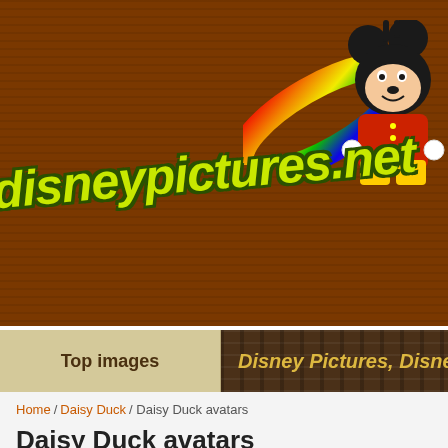[Figure (screenshot): DisneypPictures.net website header banner with brown background, colorful site logo text in yellow-green with dark outline, rainbow swoosh graphic, and Mickey Mouse character illustration in top right]
Top images
Disney Pictures, Disney
Home / Daisy Duck / Daisy Duck avatars
Daisy Duck avatars
Advertisements